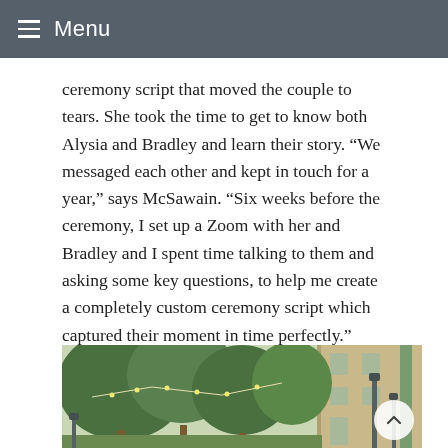Menu
ceremony script that moved the couple to tears. She took the time to get to know both Alysia and Bradley and learn their story. “We messaged each other and kept in touch for a year,” says McSawain. “Six weeks before the ceremony, I set up a Zoom with her and Bradley and I spent time talking to them and asking some key questions, to help me create a completely custom ceremony script which captured their moment in time perfectly.”
[Figure (photo): Outdoor wedding venue with lush green trees, string lights, and a historic stone building in the background. Lamp posts visible on the right side.]